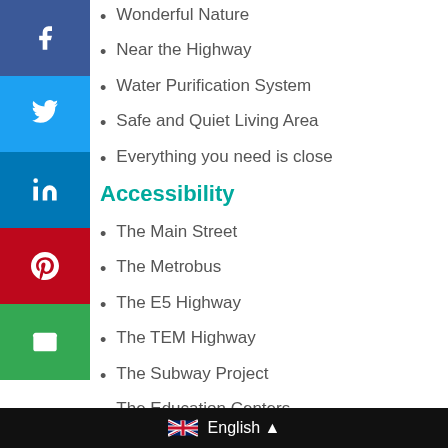Wonderful Nature
Near the Highway
Water Purification System
Safe and Quiet Living Area
Everything you need is close
Accessibility
The Main Street
The Metrobus
The E5 Highway
The TEM Highway
The Subway Project
The Education Centers
The Health Services
English